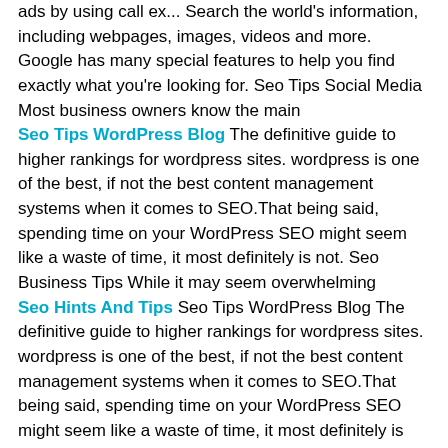ads by using call ex... Search the world's information, including webpages, images, videos and more. Google has many special features to help you find exactly what you're looking for. Seo Tips Social Media Most business owners know the main
Seo Tips WordPress Blog The definitive guide to higher rankings for wordpress sites. wordpress is one of the best, if not the best content management systems when it comes to SEO.That being said, spending time on your WordPress SEO might seem like a waste of time, it most definitely is not. Seo Business Tips While it may seem overwhelming
Seo Hints And Tips Seo Tips WordPress Blog The definitive guide to higher rankings for wordpress sites. wordpress is one of the best, if not the best content management systems when it comes to SEO.That being said, spending time on your WordPress SEO might seem like a waste of time, it most definitely is not. Seo Business Tips While
[Figure (screenshot): Dark background image with codeshare logo and text: How to optimise your website for search engines. SEO in Umbraco]
WordPress, Umbraco and many other CMSes notify you of available system … that they will boost you up in the search rankings if you use HTTPS, giving this an SEO benefit too.